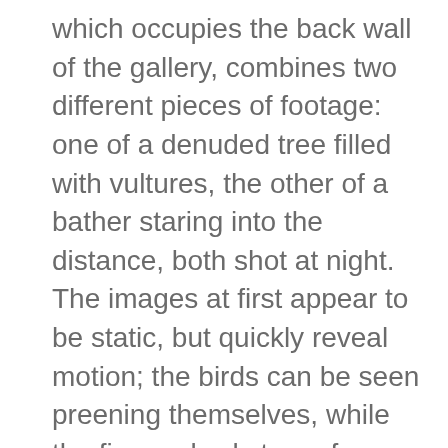which occupies the back wall of the gallery, combines two different pieces of footage: one of a denuded tree filled with vultures, the other of a bather staring into the distance, both shot at night. The images at first appear to be static, but quickly reveal motion; the birds can be seen preening themselves, while the figure slowly turns from side to side. That juxtaposition appears to argue for the existence of parallel realities, each operating independent of the other; but the symbolic weight of the vultures is simply too strong.  It makes palpable the specter of mortality. So, too, does a video on an opposite wall called So Far.  It's built around the image of a river split in two, flowing in opposite directions.  Over top of it, the artist superimposes computer-generated images of her own body.  It spins like a top, shuttling back and